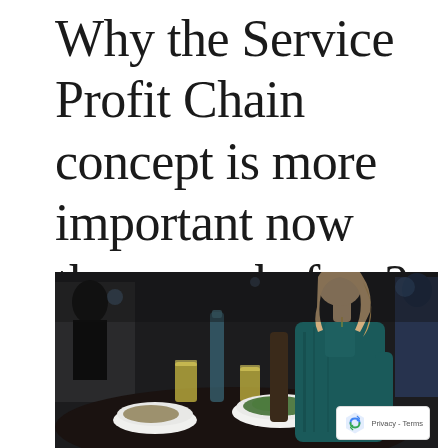Why the Service Profit Chain concept is more important now than ever before?
[Figure (photo): A woman in a teal/dark green dress sits at a restaurant table with food and drinks, in a dark atmospheric dining setting.]